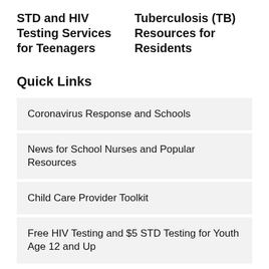STD and HIV Testing Services for Teenagers
Tuberculosis (TB) Resources for Residents
Quick Links
Coronavirus Response and Schools
News for School Nurses and Popular Resources
Child Care Provider Toolkit
Free HIV Testing and $5 STD Testing for Youth Age 12 and Up